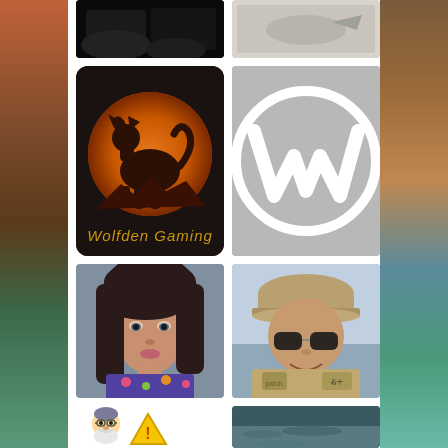[Figure (photo): Dark photo (animals/rocks) - cropped at top]
[Figure (photo): Partially visible photo - cropped at top]
[Figure (logo): Wolfden Gaming logo - wolf howling at orange moon on black background with golden script text]
[Figure (logo): WordPress logo - white W in circle on gray background]
[Figure (photo): Portrait of a woman with dark hair]
[Figure (photo): Portrait of a man wearing a cap and sunglasses in a tan jacket]
[Figure (illustration): Cartoon old man with beard holding a warning sign]
[Figure (photo): Ocean/water scene - dark teal]